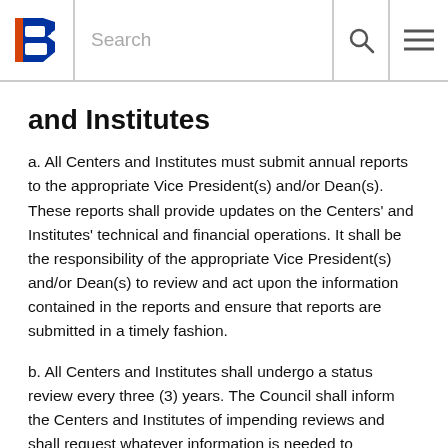Search [search icon] [menu icon]
and Institutes
a. All Centers and Institutes must submit annual reports to the appropriate Vice President(s) and/or Dean(s). These reports shall provide updates on the Centers' and Institutes' technical and financial operations. It shall be the responsibility of the appropriate Vice President(s) and/or Dean(s) to review and act upon the information contained in the reports and ensure that reports are submitted in a timely fashion.
b. All Centers and Institutes shall undergo a status review every three (3) years. The Council shall inform the Centers and Institutes of impending reviews and shall request whatever information is needed to